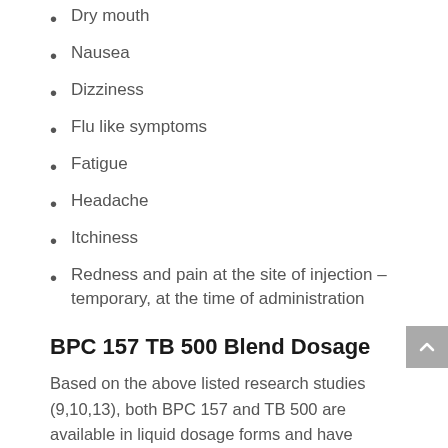Dry mouth
Nausea
Dizziness
Flu like symptoms
Fatigue
Headache
Itchiness
Redness and pain at the site of injection – temporary, at the time of administration
BPC 157 TB 500 Blend Dosage
Based on the above listed research studies (9,10,13), both BPC 157 and TB 500 are available in liquid dosage forms and have demonstrated successful